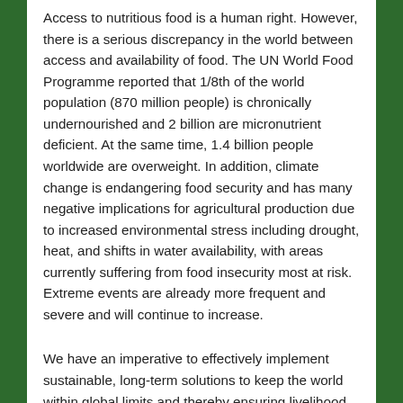Access to nutritious food is a human right. However, there is a serious discrepancy in the world between access and availability of food. The UN World Food Programme reported that 1/8th of the world population (870 million people) is chronically undernourished and 2 billion are micronutrient deficient. At the same time, 1.4 billion people worldwide are overweight. In addition, climate change is endangering food security and has many negative implications for agricultural production due to increased environmental stress including drought, heat, and shifts in water availability, with areas currently suffering from food insecurity most at risk. Extreme events are already more frequent and severe and will continue to increase.
We have an imperative to effectively implement sustainable, long-term solutions to keep the world within global limits and thereby ensuring livelihood for us and future generations. In order to do this we need to work to meet food production needs of a growing